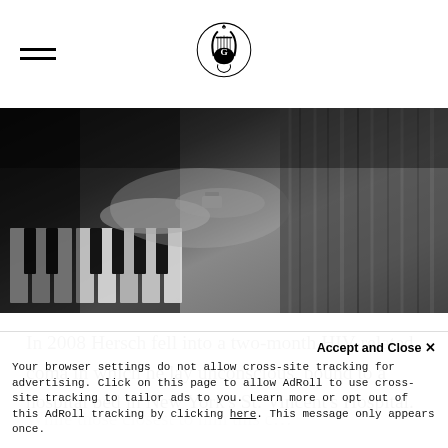[hamburger menu icon] [ornamental lyre logo]
[Figure (photo): Black and white photograph of a pianist's hands playing piano keys, with the pianist wearing a striped jacket and watch.]
In 2008 Hersch fell into a two-month HIV-related coma in which he lay unconscious, bound to a hospital bed in New York's St. Vincent's Hospital.
While those closest to him this coma assumed a recovery would be
Accept and Close ×
Your browser settings do not allow cross-site tracking for advertising. Click on this page to allow AdRoll to use cross-site tracking to tailor ads to you. Learn more or opt out of this AdRoll tracking by clicking here. This message only appears once.